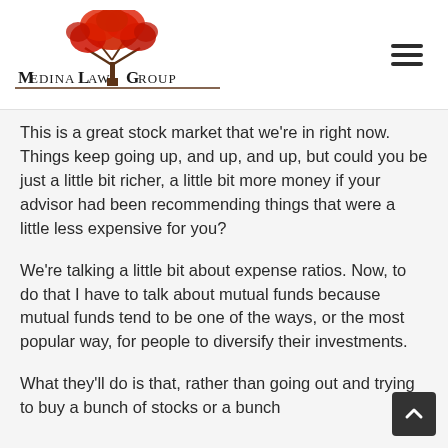Medina Law Group
This is a great stock market that we're in right now. Things keep going up, and up, and up, but could you be just a little bit richer, a little bit more money if your advisor had been recommending things that were a little less expensive for you?
We're talking a little bit about expense ratios. Now, to do that I have to talk about mutual funds because mutual funds tend to be one of the ways, or the most popular way, for people to diversify their investments.
What they'll do is that, rather than going out and trying to buy a bunch of stocks or a bunch…